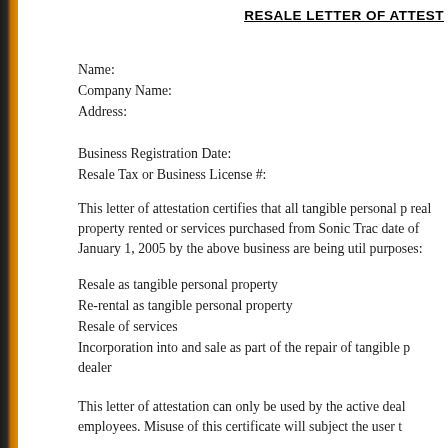RESALE LETTER OF ATTEST
Name:
Company Name:
Address:
Business Registration Date:
Resale Tax or Business License #:
This letter of attestation certifies that all tangible personal p real property rented or services purchased from Sonic Trac date of January 1, 2005 by the above business are being util purposes:
Resale as tangible personal property
Re-rental as tangible personal property
Resale of services
Incorporation into and sale as part of the repair of tangible p dealer
This letter of attestation can only be used by the active deal employees. Misuse of this certificate will subject the user t